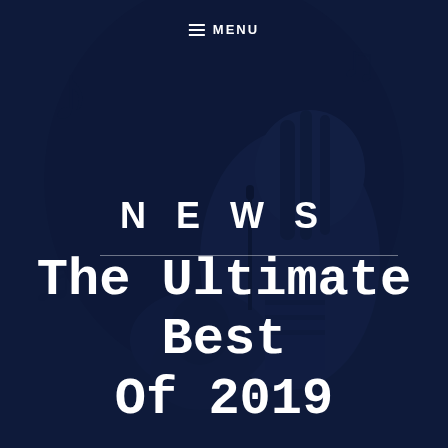≡ MENU
[Figure (photo): A female singer performing live on stage with a microphone, playing guitar, with a dark blue tinted overlay covering the background concert scene.]
NEWS
The Ultimate Best Of 2019